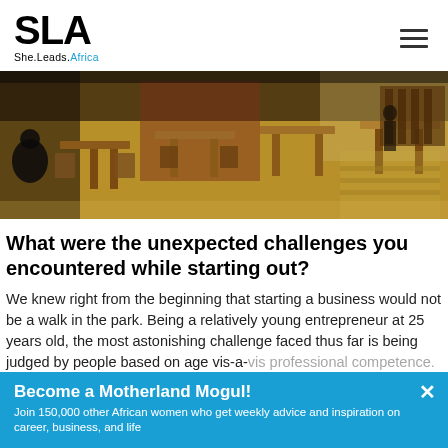SLA She.Leads.Africa
[Figure (photo): Interior of a café or restaurant with wooden chairs and tables, a person seated in the foreground on the left, and shelving/stairs visible in the background.]
What were the unexpected challenges you encountered while starting out?
We knew right from the beginning that starting a business would not be a walk in the park. Being a relatively young entrepreneur at 25 years old, the most astonishing challenge faced thus far is being judged by people based on age vis-a-vis professional competence. The intimidation has taught us that 'age is no guarantee of
Become a Motherland Mogul! Join 150,000 other African women who get weekly advice and inspiration on career, business, and life